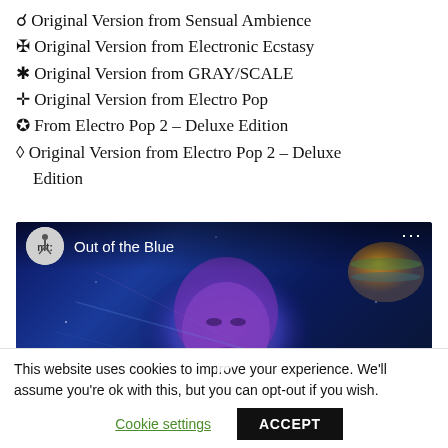⦿ Original Version from Sensual Ambience
✠ Original Version from Electronic Ecstasy
✱ Original Version from GRAY/SCALE
✛ Original Version from Electro Pop
✪ From Electro Pop 2 – Deluxe Edition
◇ Original Version from Electro Pop 2 – Deluxe Edition
[Figure (screenshot): YouTube video thumbnail for 'Out of the Blue' showing a glowing blue/purple face silhouette against a starry space background with a planet, and a YouTube-style channel logo and title overlay.]
This website uses cookies to improve your experience. We'll assume you're ok with this, but you can opt-out if you wish.
Cookie settings   ACCEPT